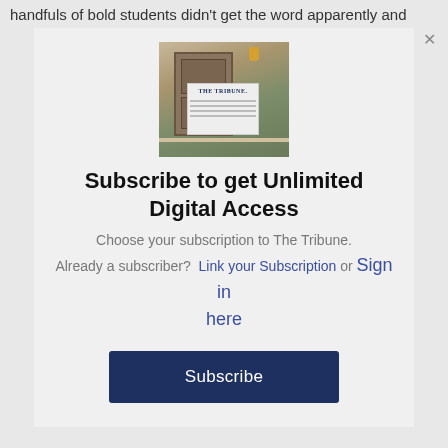handfuls of bold students didn't get the word apparently and
[Figure (photo): Photo of The Tribune newspaper on a porch with a front door and porch light visible]
Subscribe to get Unlimited Digital Access
Choose your subscription to The Tribune.
Already a subscriber?  Link your Subscription or Sign in here
Subscribe